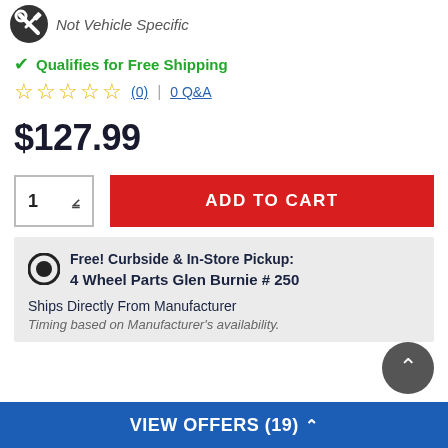[Figure (logo): Universal fit icon with wrench and screwdriver in a circle with text 'Not Vehicle Specific']
Qualifies for Free Shipping
☆☆☆☆☆ (0) | 0 Q&A
$127.99
ADD TO CART
Free! Curbside & In-Store Pickup:
4 Wheel Parts Glen Burnie #250

Ships Directly From Manufacturer
Timing based on Manufacturer's availability.
VIEW OFFERS (19)